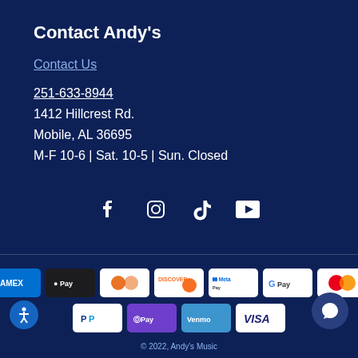Contact Andy's
Contact Us
251-633-8944
1412 Hillcrest Rd.
Mobile, AL 36695
M-F 10-6 | Sat. 10-5 | Sun. Closed
[Figure (infographic): Social media icons: Facebook, Instagram, TikTok, YouTube]
[Figure (infographic): Payment method logos: American Express, Apple Pay, Diners Club, Discover, Meta Pay, Google Pay, Mastercard, PayPal, OPay, Venmo, Visa]
© 2022, Andy's Music